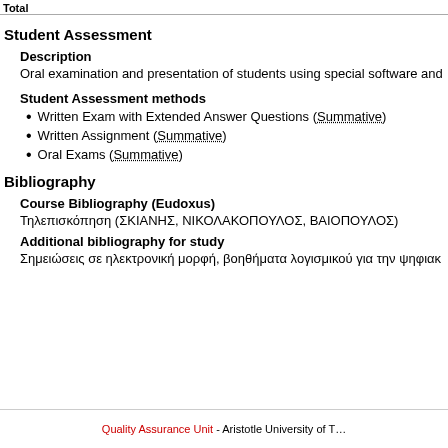Total
Student Assessment
Description
Oral examination and presentation of students using special software and…
Student Assessment methods
Written Exam with Extended Answer Questions (Summative)
Written Assignment (Summative)
Oral Exams (Summative)
Bibliography
Course Bibliography (Eudoxus)
Τηλεπισκόπηση (ΣΚΙΑΝΗΣ, ΝΙΚΟΛΑΚΟΠΟΥΛΟΣ, ΒΑΙΟΠΟΥΛΟΣ)
Additional bibliography for study
Σημειώσεις σε ηλεκτρονική μορφή, βοηθήματα λογισμικού για την ψηφιακ…
Quality Assurance Unit - Aristotle University of T…